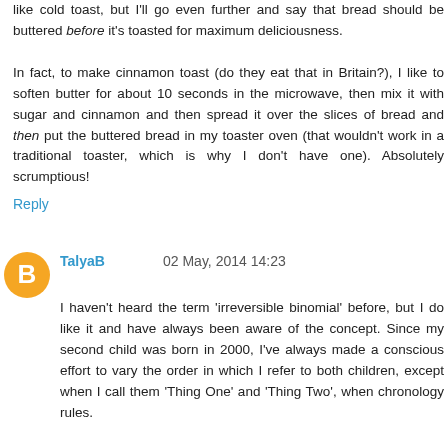like cold toast, but I'll go even further and say that bread should be buttered before it's toasted for maximum deliciousness.

In fact, to make cinnamon toast (do they eat that in Britain?), I like to soften butter for about 10 seconds in the microwave, then mix it with sugar and cinnamon and then spread it over the slices of bread and then put the buttered bread in my toaster oven (that wouldn't work in a traditional toaster, which is why I don't have one). Absolutely scrumptious!
Reply
TalyaB 02 May, 2014 14:23
I haven't heard the term 'irreversible binomial' before, but I do like it and have always been aware of the concept. Since my second child was born in 2000, I've always made a conscious effort to vary the order in which I refer to both children, except when I call them 'Thing One' and 'Thing Two', when chronology rules.